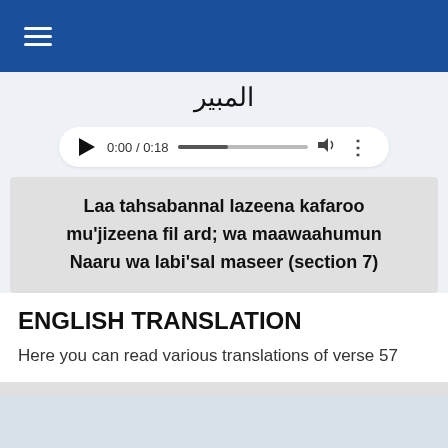≡
المبير
[Figure (other): Audio player showing 0:00 / 0:18 with play button, progress bar, volume icon, and options dots]
Laa tahsabannal lazeena kafaroo mu'jizeena fil ard; wa maawaahumun Naaru wa labi'sal maseer (section 7)
ENGLISH TRANSLATION
Here you can read various translations of verse 57